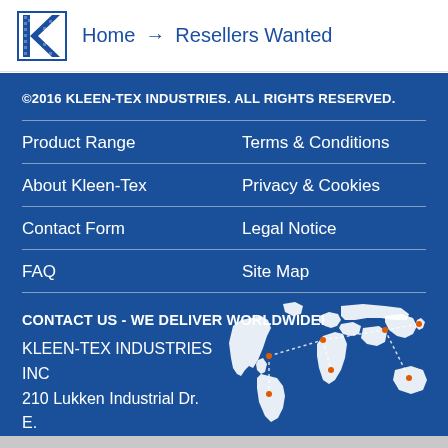Home → Resellers Wanted
©2016 KLEEN-TEX INDUSTRIES. ALL RIGHTS RESERVED.
Product Range
Terms & Conditions
About Kleen-Tex
Privacy & Cookies
Contact Form
Legal Notice
FAQ
Site Map
CONTACT US - WE DELIVER WORLDWIDE!
KLEEN-TEX INDUSTRIES INC
210 Lukken Industrial Dr.
E.
[Figure (map): White silhouette world map on blue background with dotted lines indicating worldwide delivery routes]